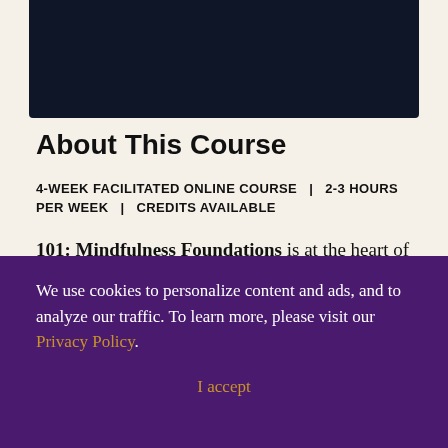[Figure (other): Dark navy banner/header block at the top of the page]
About This Course
4-WEEK FACILITATED ONLINE COURSE  |  2-3 HOURS PER WEEK  |  CREDITS AVAILABLE
101: Mindfulness Foundations is at the heart of what Mindful Schools is known for—an educator-centered approach to bring mindfulness to K-12
We use cookies to personalize content and ads, and to analyze our traffic. To learn more, please visit our Privacy Policy.
I accept